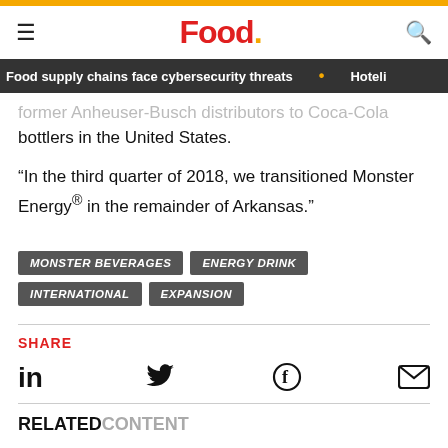Food.
former Anheuser-Busch distributors to Coca-Cola bottlers in the United States.
“In the third quarter of 2018, we transitioned Monster Energy® in the remainder of Arkansas.”
MONSTER BEVERAGES
ENERGY DRINK
INTERNATIONAL
EXPANSION
SHARE
RELATED CONTENT